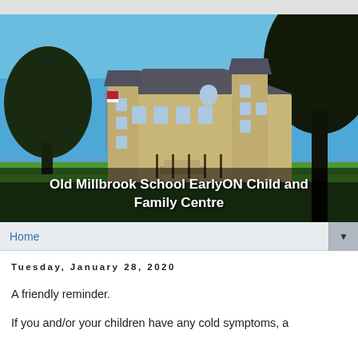[Figure (photo): Exterior photo of the Old Millbrook School building under a blue sky, surrounded by trees and green grass. A large historic stone school building is visible in the centre.]
Old Millbrook School EarlyON Child and Family Centre
Home
Tuesday, January 28, 2020
A friendly reminder.
If you and/or your children have any cold symptoms, a